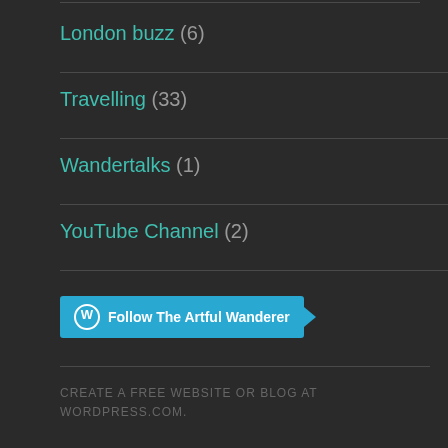London buzz (6)
Travelling (33)
Wandertalks (1)
YouTube Channel (2)
[Figure (other): Follow The Artful Wanderer WordPress follow button in cyan/blue color with WordPress logo icon and arrow]
CREATE A FREE WEBSITE OR BLOG AT WORDPRESS.COM.